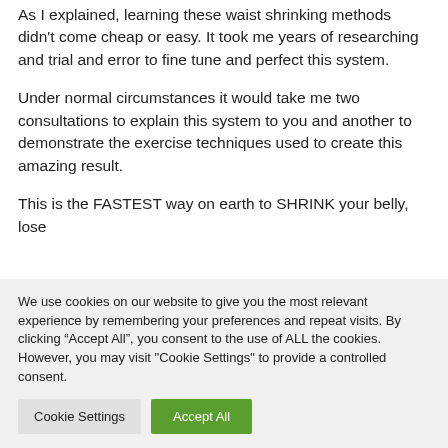As I explained, learning these waist shrinking methods didn't come cheap or easy. It took me years of researching and trial and error to fine tune and perfect this system.
Under normal circumstances it would take me two consultations to explain this system to you and another to demonstrate the exercise techniques used to create this amazing result.
This is the FASTEST way on earth to SHRINK your belly, lose
We use cookies on our website to give you the most relevant experience by remembering your preferences and repeat visits. By clicking “Accept All”, you consent to the use of ALL the cookies. However, you may visit "Cookie Settings" to provide a controlled consent.